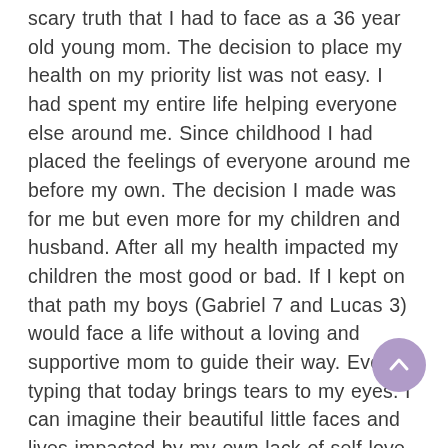scary truth that I had to face as a 36 year old young mom. The decision to place my health on my priority list was not easy. I had spent my entire life helping everyone else around me. Since childhood I had placed the feelings of everyone around me before my own. The decision I made was for me but even more for my children and husband. After all my health impacted my children the most good or bad. If I kept on that path my boys (Gabriel 7 and Lucas 3) would face a life without a loving and supportive mom to guide their way. Even typing that today brings tears to my eyes. I can imagine their beautiful little faces and lives impacted by my own lack of self-love. Over these 6 roller coaster years, I found my way back to my emotional and physical health. But the hardest part was this last year. The emotions his greatest and both of feli...
[Figure (other): Purple circular scroll-to-top button with upward chevron arrow]